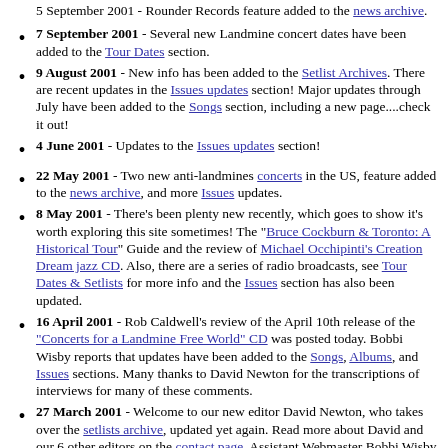5 September 2001 - Rounder Records feature added to the news archive.
7 September 2001 - Several new Landmine concert dates have been added to the Tour Dates section.
9 August 2001 - New info has been added to the Setlist Archives. There are recent updates in the Issues updates section! Major updates through July have been added to the Songs section, including a new page....check it out!
4 June 2001 - Updates to the Issues updates section!
22 May 2001 - Two new anti-landmines concerts in the US, feature added to the news archive, and more Issues updates.
8 May 2001 - There's been plenty new recently, which goes to show it's worth exploring this site sometimes! The "Bruce Cockburn & Toronto: A Historical Tour" Guide and the review of Michael Occhipinti's Creation Dream jazz CD. Also, there are a series of radio broadcasts, see Tour Dates & Setlists for more info and the Issues section has also been updated.
16 April 2001 - Rob Caldwell's review of the April 10th release of the "Concerts for a Landmine Free World" CD was posted today. Bobbi Wisby reports that updates have been added to the Songs, Albums, and Issues sections. Many thanks to David Newton for the transcriptions of interviews for many of these comments.
27 March 2001 - Welcome to our new editor David Newton, who takes over the setlists archive, updated yet again. Read more about David and our 6 other editors on the contact page. Assistant Webmaster Bobbi Wisby also tells us there's